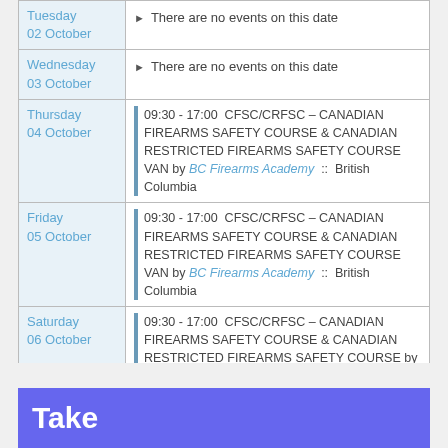| Date | Event |
| --- | --- |
| Tuesday
02 October | There are no events on this date |
| Wednesday
03 October | There are no events on this date |
| Thursday
04 October | 09:30 - 17:00  CFSC/CRFSC – CANADIAN FIREARMS SAFETY COURSE & CANADIAN RESTRICTED FIREARMS SAFETY COURSE VAN by BC Firearms Academy  ::  British Columbia |
| Friday
05 October | 09:30 - 17:00  CFSC/CRFSC – CANADIAN FIREARMS SAFETY COURSE & CANADIAN RESTRICTED FIREARMS SAFETY COURSE VAN by BC Firearms Academy  ::  British Columbia |
| Saturday
06 October | 09:30 - 17:00  CFSC/CRFSC – CANADIAN FIREARMS SAFETY COURSE & CANADIAN RESTRICTED FIREARMS SAFETY COURSE by BC Firearms Academy  ::  British Columbia |
Take